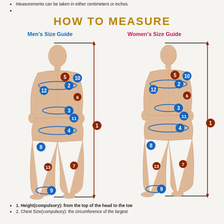Measurements can be taken in either centimeters or inches.
HOW TO MEASURE
[Figure (illustration): Two body measurement diagrams side by side: Men's Size Guide (left) and Women's Size Guide (right). Each shows an illustrated figure with numbered measurement points (1-13) for height, chest, waist, hips, etc., with blue oval markers for circumference measurements and red/brown markers for length measurements. A vertical double-headed arrow on the right of each figure indicates total height (measurement 1).]
1. Height(compulsory): from the top of the head to the toe
2. Chest Size(compulsory): the circumference of the largest